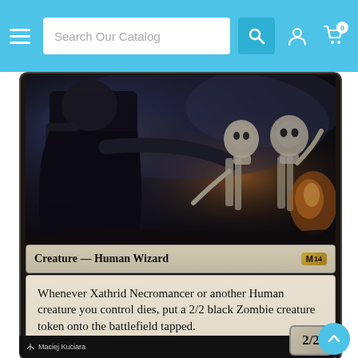Search Our Catalog
[Figure (photo): Magic: The Gathering card artwork showing a dark-robed necromancer figure with skeletal undead warriors in a smoky battlefield scene]
Creature — Human Wizard  M14
Whenever Xathrid Necromancer or another Human creature you control dies, put a 2/2 black Zombie creature token onto the battlefield tapped.
“My commands shall echo forever in their dusty skulls.”
Maciej Kuciara  2/2